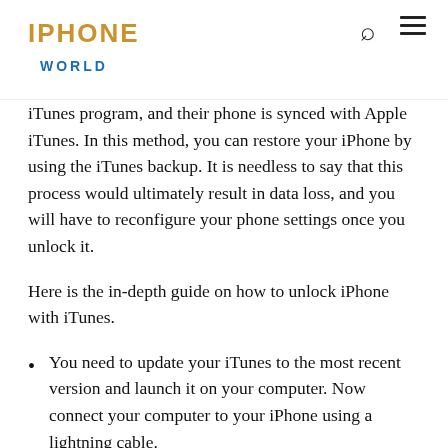IPHONE WORLD
iTunes program, and their phone is synced with Apple iTunes. In this method, you can restore your iPhone by using the iTunes backup. It is needless to say that this process would ultimately result in data loss, and you will have to reconfigure your phone settings once you unlock it.
Here is the in-depth guide on how to unlock iPhone with iTunes.
You need to update your iTunes to the most recent version and launch it on your computer. Now connect your computer to your iPhone using a lightning cable.
Select the device icon from the top left corner in the iTunes interface. Click Summary later and press the Restore iPhone. To confirm your choice, click the